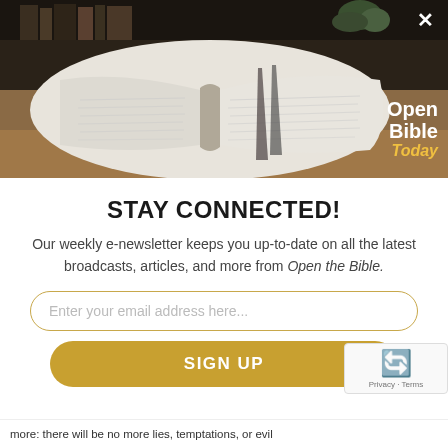[Figure (photo): Open Bible/book on a desk with dark moody background and 'Open Bible Today' logo in the upper right. An X close button is visible in the top right corner.]
STAY CONNECTED!
Our weekly e-newsletter keeps you up-to-date on all the latest broadcasts, articles, and more from Open the Bible.
Enter your email address here...
SIGN UP
more: there will be no more lies, temptations, or evil